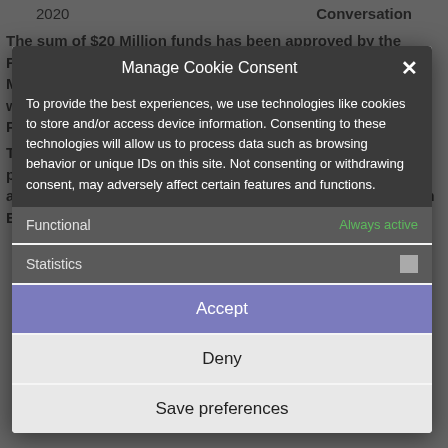2020   Conversation
The sum of $20 Million funds has been approved by the Federal Government for young innovators and Small and Medium Enterprises (SMEs) in the technology sector. This was announced during a meeting presided over by the Vice President, Yemi Osinbajo at the Presidential Villa, Abuja.
The meeting was held for the purpose of reviewing the progress on President Muhammadu Buhari-led administration's efforts to support Micro, Small and Medium Enterprises (MSMEs).
Manage Cookie Consent
To provide the best experiences, we use technologies like cookies to store and/or access device information. Consenting to these technologies will allow us to process data such as browsing behavior or unique IDs on this site. Not consenting or withdrawing consent, may adversely affect certain features and functions.
Functional
Always active
Statistics
Accept
Deny
Save preferences